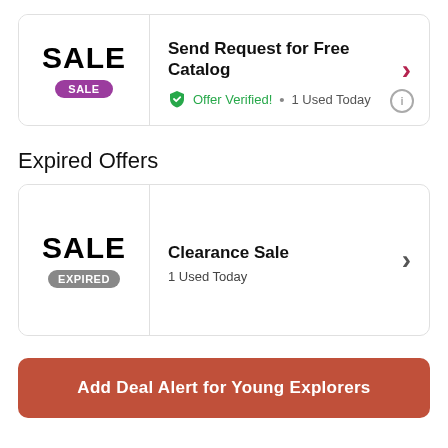[Figure (infographic): Sale card with purple SALE badge, title 'Send Request for Free Catalog', green verified checkmark, '1 Used Today', dark red arrow right, info icon]
Expired Offers
[Figure (infographic): Expired sale card with gray EXPIRED badge, title 'Clearance Sale', '1 Used Today', gray arrow right]
Add Deal Alert for Young Explorers